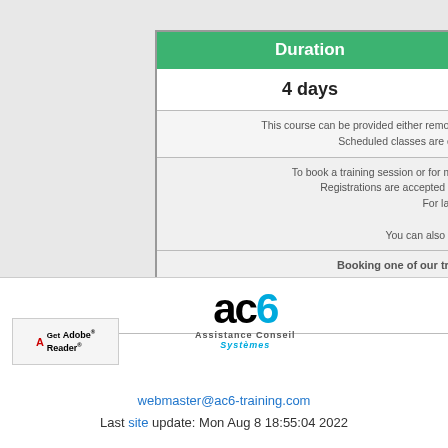| Duration |
| --- |
| 4 days |
| This course can be provided either remote
Scheduled classes are co |
| To book a training session or for mo
Registrations are accepted till
For late

You can also fill |
| Booking one of our trai |
[Figure (logo): AC6 Assistance Conseil Systèmes logo with Adobe Reader badge]
webmaster@ac6-training.com
Last site update: Mon Aug 8 18:55:04 2022